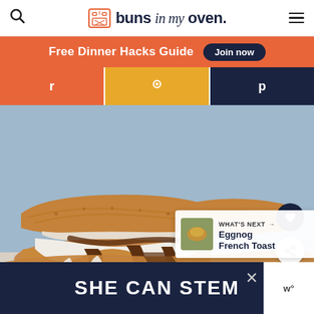buns in my oven
Free Dinner Hacks Guide  Join now
[Figure (photo): Close-up of s'mores bars broken open showing melted chocolate and marshmallow filling on graham cracker crust, on a light blue background]
WHAT'S NEXT → Eggnog French Toast
SHE CAN STEM